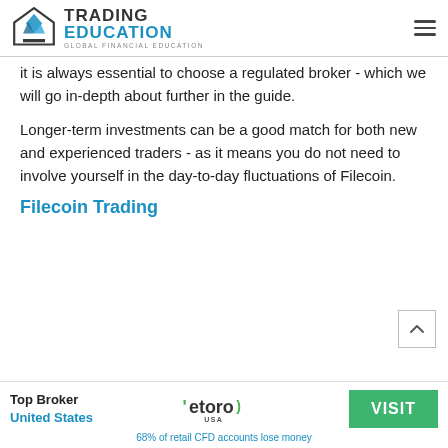TRADING EDUCATION — GLOBAL FINANCIAL EDUCATION
it is always essential to choose a regulated broker - which we will go in-depth about further in the guide.
Longer-term investments can be a good match for both new and experienced traders - as it means you do not need to involve yourself in the day-to-day fluctuations of Filecoin.
Filecoin Trading
[Figure (other): Scroll to top arrow button]
Top Broker United States | eToro USA | VISIT | 68% of retail CFD accounts lose money